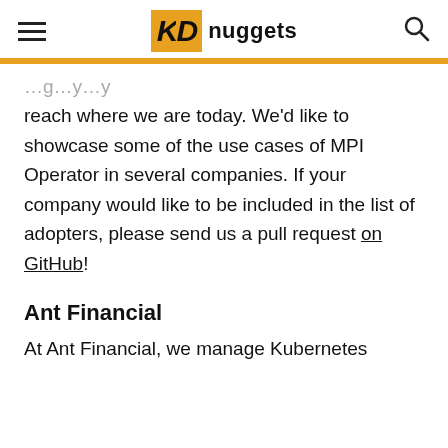KDnuggets
reach where we are today. We'd like to showcase some of the use cases of MPI Operator in several companies. If your company would like to be included in the list of adopters, please send us a pull request on GitHub!
Ant Financial
At Ant Financial, we manage Kubernetes